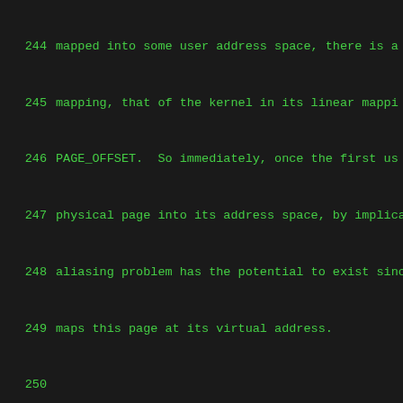244  mapped into some user address space, there is a
245  mapping, that of the kernel in its linear mappi
246  PAGE_OFFSET.  So immediately, once the first us
247  physical page into its address space, by implica
248  aliasing problem has the potential to exist sinc
249  maps this page at its virtual address.
250
251    ``void copy_user_page(void *to, void *from, u
252    ``void clear_user_page(void *to, unsigned long
253
254          These two routines store data in user a
255          pages.  It allows a port to efficiently
256          issues between userspace and the kernel
257
258          For example, a port may temporarily map
259          kernel virtual addresses during the copy
260          for these two pages is chosen in such a
261          load/store instructions happen to virtu
262          of the same "color" as the user mapping
263          for example, uses this technique.
264
265          The 'addr' parameter tells the virtual